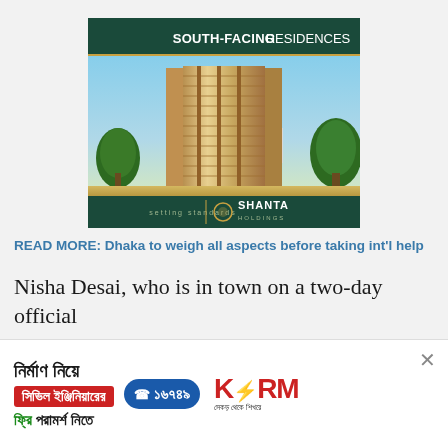[Figure (illustration): Advertisement banner for Shanta Holdings showing a tall residential building with south-facing residences. Dark green header with text 'SOUTH-FACING RESIDENCES', building rendering in center, Shanta Holdings logo and 'setting standards' text at bottom.]
READ MORE: Dhaka to weigh all aspects before taking int'l help
Nisha Desai, who is in town on a two-day official
[Figure (illustration): Advertisement banner for KSRM building materials. Bengali text 'নির্মাণ নিয়ে' (about construction), red badge 'সিভিল ইঞ্জিনিয়ারের' (Civil Engineer's), green badge with phone '১৬৭৪৯', 'ফ্রি পরামর্শ নিতে' (get free advice), KSRM logo on right with Bengali tagline.]